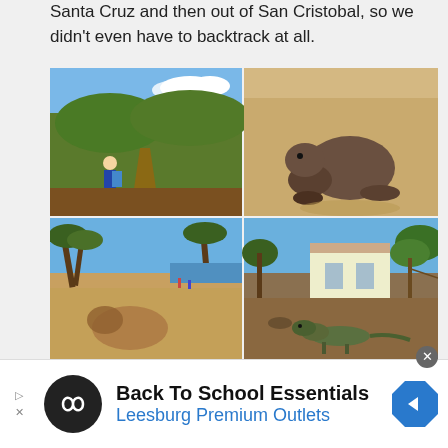Santa Cruz and then out of San Cristobal, so we didn't even have to backtrack at all.
[Figure (photo): 2x2 grid of four outdoor photos from the Galápagos Islands: top-left shows a hiker on a trail through green shrubs; top-right shows a sea lion on sandy beach; bottom-left shows sandy beach with sparse trees and sea lion; bottom-right shows a land iguana on rocky ground near a building.]
[Figure (infographic): Advertisement banner for Back To School Essentials at Leesburg Premium Outlets, featuring a circular black logo with infinity symbol, bold title text, and blue subtitle, with a blue octagonal navigation arrow icon on the right.]